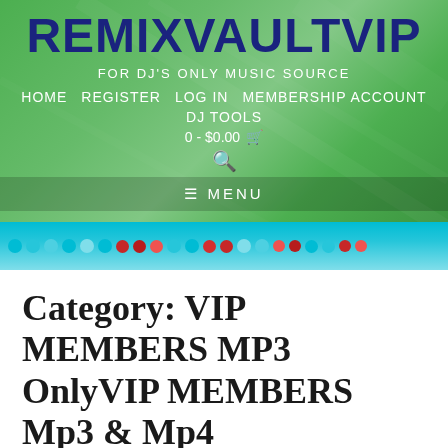[Figure (screenshot): RemixVaultVIP website header with green gradient background, site logo in dark blue bold text, navigation menu, cart, search icon, and a mixer/DJ equipment banner at the bottom of the header.]
Category: VIP MEMBERS MP3 OnlyVIP MEMBERS Mp3 & Mp4
REMIXVAULTVIP > VIP MEMBERS MP3 ONLYVIP MEMBERS MP3 & MP4